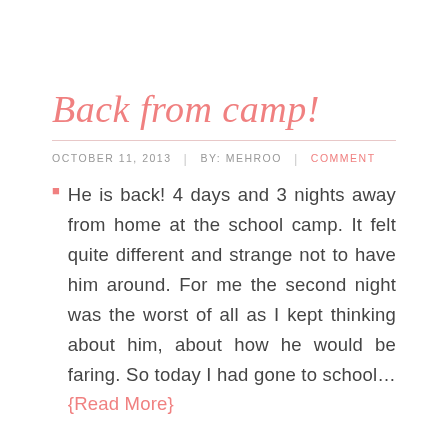Back from camp!
OCTOBER 11, 2013  |  BY: MEHROO  |  COMMENT
He is back! 4 days and 3 nights away from home at the school camp. It felt quite different and strange not to have him around. For me the second night was the worst of all as I kept thinking about him, about how he would be faring. So today I had gone to school… {Read More}